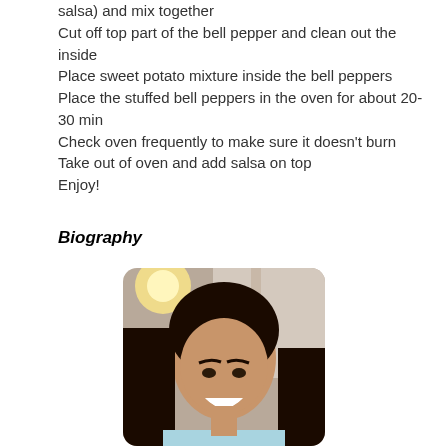salsa) and mix together
Cut off top part of the bell pepper and clean out the inside
Place sweet potato mixture inside the bell peppers
Place the stuffed bell peppers in the oven for about 20- 30 min
Check oven frequently to make sure it doesn't burn
Take out of oven and add salsa on top
Enjoy!
Biography
[Figure (photo): A smiling young woman with long dark hair taking a selfie indoors, with a warm light visible in the background.]